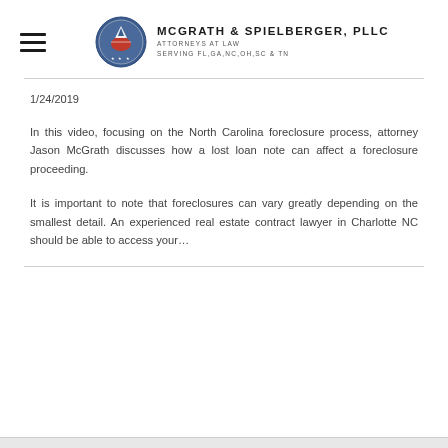MCGRATH & SPIELBERGER, PLLC ATTORNEYS AT LAW SERVING FL,GA,NC,OH,SC & TN
1/24/2019
In this video, focusing on the North Carolina foreclosure process, attorney Jason McGrath discusses how a lost loan note can affect a foreclosure proceeding.
It is important to note that foreclosures can vary greatly depending on the smallest detail. An experienced real estate contract lawyer in Charlotte NC should be able to access your…